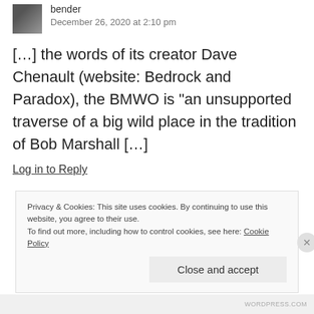bender
December 26, 2020 at 2:10 pm
[…] the words of its creator Dave Chenault (website: Bedrock and Paradox), the BMWO is "an unsupported traverse of a big wild place in the tradition of Bob Marshall […]
Log in to Reply
Privacy & Cookies: This site uses cookies. By continuing to use this website, you agree to their use.
To find out more, including how to control cookies, see here: Cookie Policy
Close and accept